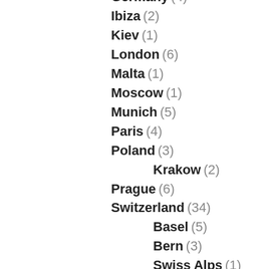Germany (4)
Ibiza (2)
Kiev (1)
London (6)
Malta (1)
Moscow (1)
Munich (5)
Paris (4)
Poland (3)
Krakow (2)
Prague (6)
Switzerland (34)
Basel (5)
Bern (3)
Swiss Alps (1)
Zermatt (3)
Zurich (4)
Greek Islands (25)